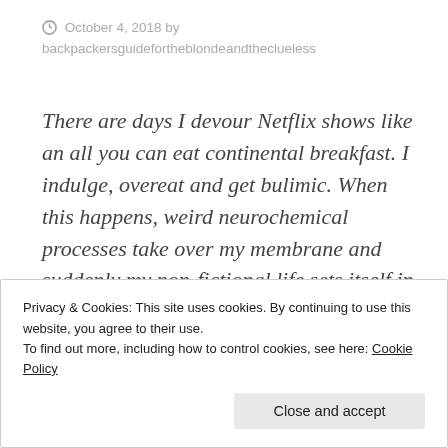October 4, 2018 by backpackersguidefortheblondeandtheclueless
There are days I devour Netflix shows like an all you can eat continental breakfast. I indulge, overeat and get bulimic. When this happens, weird neurochemical processes take over my membrane and suddenly my non-fictional life sets itself in the middle of my new favorite fictional universe. When
Privacy & Cookies: This site uses cookies. By continuing to use this website, you agree to their use.
To find out more, including how to control cookies, see here: Cookie Policy
Close and accept